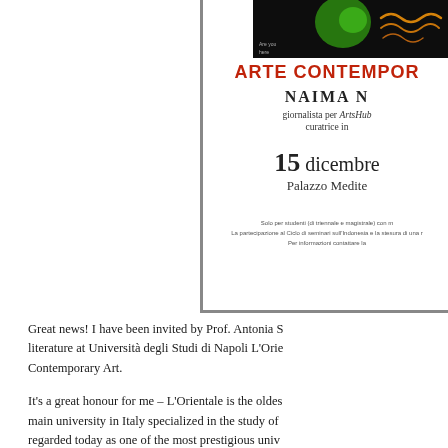[Figure (photo): Partial view of an event invitation/flyer for a contemporary art seminar. Shows a dark image at top, red title 'ARTE CONTEMPOR...' (Arte Contemporanea), speaker name 'NAIMA N...', role as journalist for ArtsHub and curator, date '15 dicembre', venue 'Palazzo Medite...', and fine print about student participation.]
Great news! I have been invited by Prof. Antonia S... literature at Università degli Studi di Napoli L'Orie... Contemporary Art.
It's a great honour for me – L'Orientale is the oldes... main university in Italy specialized in the study of ... regarded today as one of the most prestigious univ...